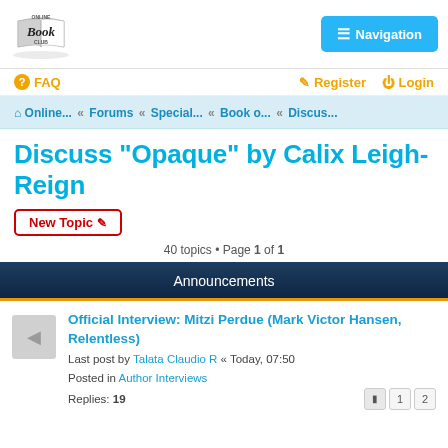[Figure (logo): Online Book Club logo, black and white, with stylized book graphic]
≡ Navigation
? FAQ
Register  Login
Online... « Forums « Special... « Book o... « Discus...
Discuss "Opaque" by Calix Leigh-Reign
New Topic ✏
40 topics • Page 1 of 1
Announcements
Official Interview: Mitzi Perdue (Mark Victor Hansen, Relentless)
Last post by Talata Claudio R « Today, 07:50
Posted in Author Interviews
Replies: 19